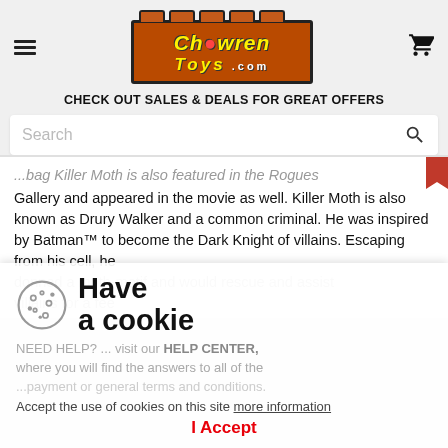Chowren Toys .com
CHECK OUT SALES & DEALS FOR GREAT OFFERS
Search
...bag Killer Moth is also featured in the Rogues Gallery and appeared in the movie as well. Killer Moth is also known as Drury Walker and a common criminal. He was inspired by Batman™ to become the Dark Knight of villains. Escaping from his cell, he donned a moth-motif and would rescue and assist villains for a fee
Have a cookie
NEED HELP? ... visit our HELP CENTER, where you will find the answers to all of the ...payment or general terms and conditions.
Accept the use of cookies on this site more information
I Accept